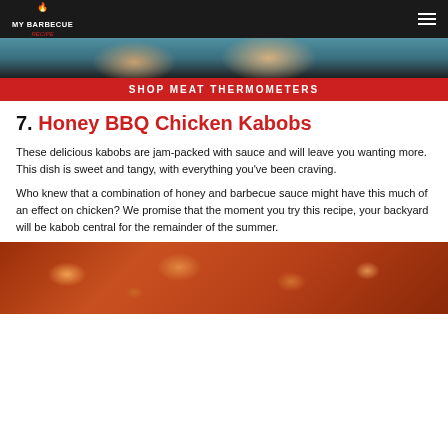MY BARBECUE RECIPE
[Figure (photo): Top portion of a food/barbecue photo, partially visible at top of page]
SHOP MEAT THERMOMETERS
7. Honey BBQ Chicken Kabobs
These delicious kabobs are jam-packed with sauce and will leave you wanting more. This dish is sweet and tangy, with everything you've been craving.
Who knew that a combination of honey and barbecue sauce might have this much of an effect on chicken? We promise that the moment you try this recipe, your backyard will be kabob central for the remainder of the summer.
[Figure (photo): Photo of honey BBQ chicken kabobs with glazed chicken pieces on skewers]